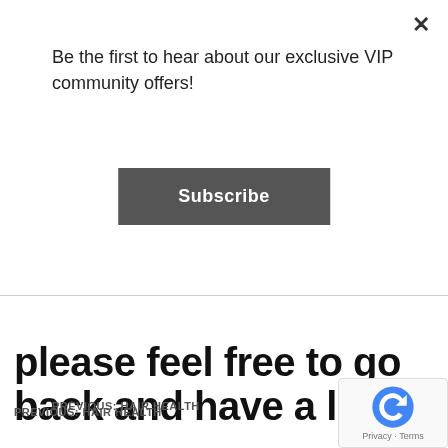Be the first to hear about our exclusive VIP community offers!
Subscribe
please feel free to go back and have a look.
PREVIOUS: HAIR HEALTH
So that’s got the body covered to create the best hair it can. Once its out of your head there are things we can do to make it fuller and have more volume.
– A bodifying shampoo and conditioner to help create body